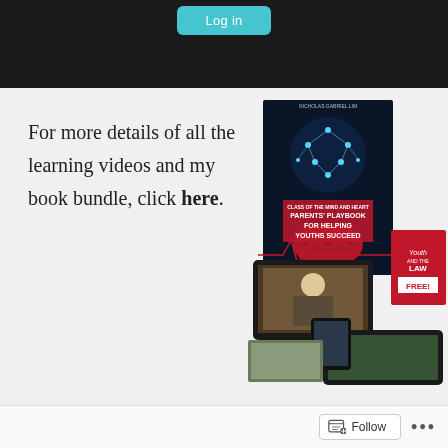[Figure (screenshot): Dark top bar with a teal/cyan 'Log in' button]
For more details of all the learning videos and my book bundle, click here.
[Figure (photo): Book bundle image showing 'Parents' Playbook for Helping Youths Succeed' by Nicholas Gabriel Lim, along with digital devices (tablet, phone, laptop) and a red 'Youth and the Law - FREE!' booklet]
[Figure (screenshot): Bottom WordPress-style follow bar with a Follow button and ellipsis menu]